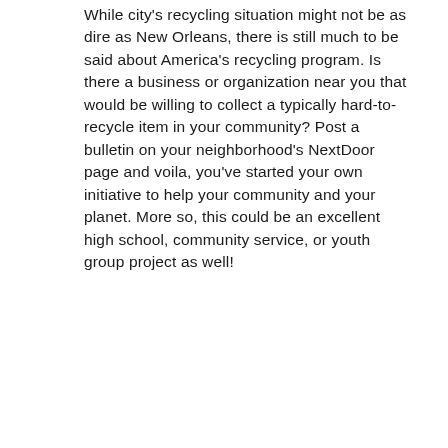While city's recycling situation might not be as dire as New Orleans, there is still much to be said about America's recycling program. Is there a business or organization near you that would be willing to collect a typically hard-to-recycle item in your community? Post a bulletin on your neighborhood's NextDoor page and voila, you've started your own initiative to help your community and your planet. More so, this could be an excellent high school, community service, or youth group project as well!